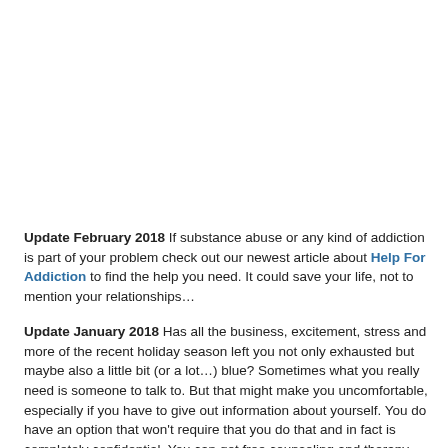Update February 2018 If substance abuse or any kind of addiction is part of your problem check out our newest article about Help For Addiction to find the help you need. It could save your life, not to mention your relationships...
Update January 2018 Has all the business, excitement, stress and more of the recent holiday season left you not only exhausted but maybe also a little bit (or a lot…) blue? Sometimes what you really need is someone to talk to. But that might make you uncomfortable, especially if you have to give out information about yourself. You do have an option that won't require that you do that and in fact is completely confidential. You can get free counseling and therapy via